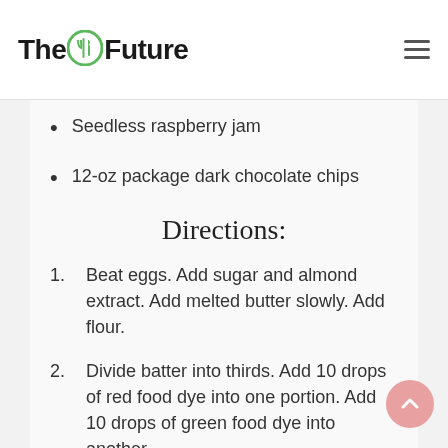The Future
Seedless raspberry jam
12-oz package dark chocolate chips
Directions:
Beat eggs. Add sugar and almond extract. Add melted butter slowly. Add flour.
Divide batter into thirds. Add 10 drops of red food dye into one portion. Add 10 drops of green food dye into another.
Grease with butter 3 oblong cake pans (approx. 13-1/4 x 9-1/4 x 1-1/4)